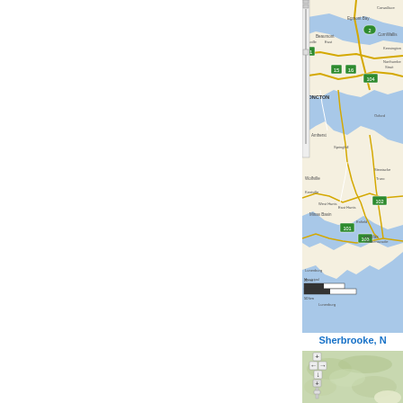[Figure (map): Google Maps style road map showing Nova Scotia and surrounding Maritime provinces region, including Moncton, Minas Basin, Halifax, Lunenburg, and various highway routes (101, 102, 103, 104, 15, 16). Shows bodies of water in blue, land in beige, roads in yellow and white with numbered shields. A zoom control slider is visible on the left edge.]
Sherbrooke, N
[Figure (map): Google Maps terrain/topographic map showing a green hilly landscape, likely Quebec region near Sherbrooke. Zoom control with plus/minus buttons visible on left side.]